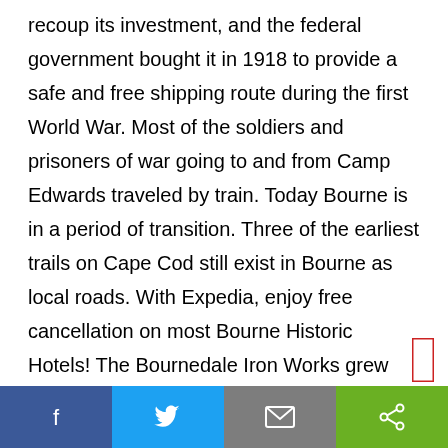recoup its investment, and the federal government bought it in 1918 to provide a safe and free shipping route during the first World War. Most of the soldiers and prisoners of war going to and from Camp Edwards traveled by train. Today Bourne is in a period of transition. Three of the earliest trails on Cape Cod still exist in Bourne as local roads. With Expedia, enjoy free cancellation on most Bourne Historic Hotels! The Bournedale Iron Works grew too, as the primary supplier of iron fittings for the Keith cars. View details, map and photos of this single family property with 3 bedrooms and 2 total baths. Aptucxet Trading Post Museum: Great history lesson! Her parents divorced when she was young, and when her mother Shirley married a second
Facebook | Twitter | Email | Share